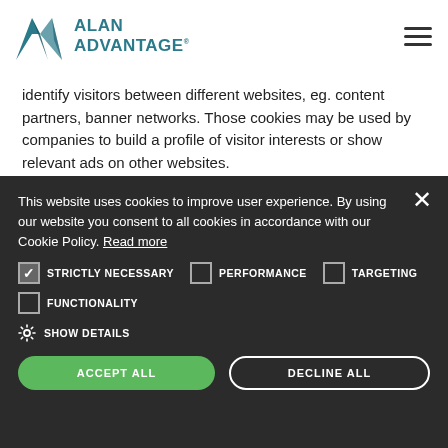Alan Advantage logo and navigation menu
identify visitors between different websites, eg. content partners, banner networks. Those cookies may be used by companies to build a profile of visitor interests or show relevant ads on other websites.
Functionality cookies. Functionality cookies are used to remember visitor information on the website, eg. language, timezone, enhanced content
This website uses cookies to improve user experience. By using our website you consent to all cookies in accordance with our Cookie Policy. Read more
STRICTLY NECESSARY (checked), PERFORMANCE (unchecked), TARGETING (unchecked)
FUNCTIONALITY (unchecked)
SHOW DETAILS
ACCEPT ALL | DECLINE ALL